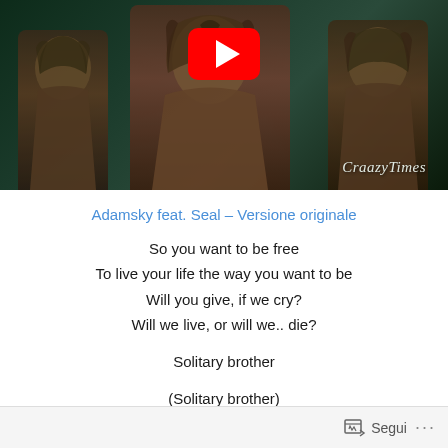[Figure (screenshot): YouTube video thumbnail showing three young men with dreadlocks against a dark green background, with a YouTube play button overlay and 'CraazyTimes' watermark in the bottom right corner.]
Adamsky feat. Seal – Versione originale
So you want to be free
To live your life the way you want to be
Will you give, if we cry?
Will we live, or will we.. die?

Solitary brother

(Solitary brother)

Is there still a part of you that wants to live?
Segui